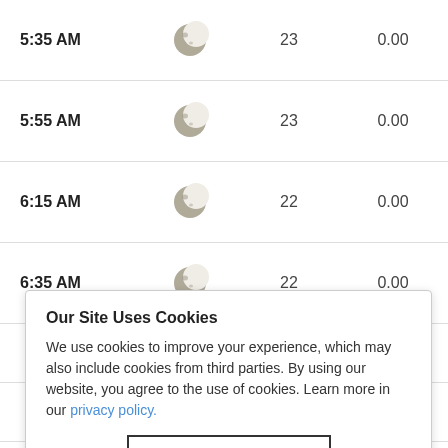| Time | Condition | Temp | Precip |
| --- | --- | --- | --- |
| 5:35 AM | [moon icon] | 23 | 0.00 |
| 5:55 AM | [moon icon] | 23 | 0.00 |
| 6:15 AM | [moon icon] | 22 | 0.00 |
| 6:35 AM | [moon icon] | 22 | 0.00 |
| ... | ... | ... | 0.00 |
| ... | ... | ... | 0.00 |
| ... | ... | ... | 0.00 |
| ... | ... | ... | 0.00 |
| 8:15 AM | [sun icon] | 22 | 0.00 |
Our Site Uses Cookies
We use cookies to improve your experience, which may also include cookies from third parties. By using our website, you agree to the use of cookies. Learn more in our privacy policy.
ACCEPT & CLOSE